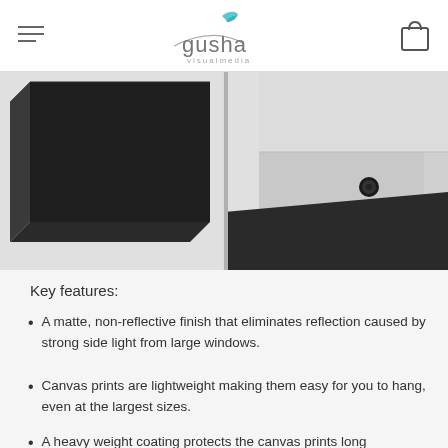gusha visualmedia
[Figure (photo): Two close-up photos of canvas print corners: left shows dark/black wrapped canvas corner from front, right shows silver/metallic back of canvas with mounting button visible]
Key features:
A matte, non-reflective finish that eliminates reflection caused by strong side light from large windows.
Canvas prints are lightweight making them easy for you to hang, even at the largest sizes.
A heavy weight coating protects the canvas prints long